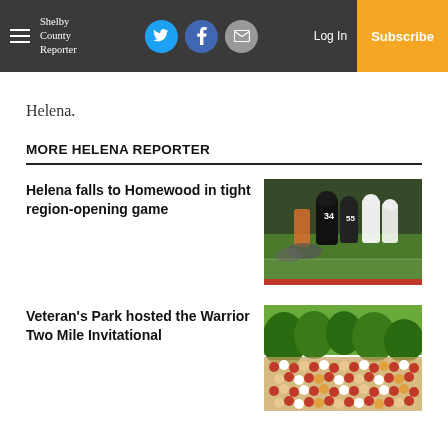Shelby County Reporter | Log In | Subscribe
Helena.
MORE HELENA REPORTER
Helena falls to Homewood in tight region-opening game
[Figure (photo): Football players running on a field during a game]
Veteran's Park hosted the Warrior Two Mile Invitational
[Figure (photo): Crowd gathered at Veteran's Park for the Warrior Two Mile Invitational]